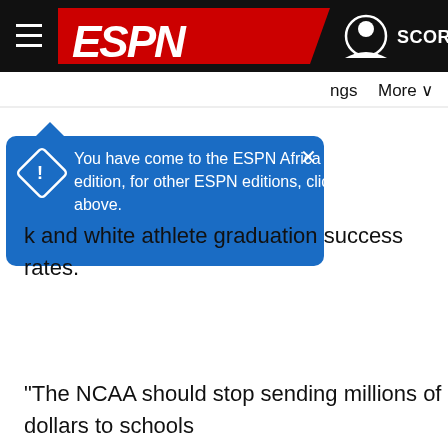[Figure (screenshot): ESPN website navigation bar with hamburger menu, ESPN logo on red background, user icon and SCORES button on the right]
[Figure (screenshot): Blue tooltip popup with warning diamond icon reading: You have come to the ESPN Africa edition, for other ESPN editions, click above. With X close button. Secondary nav shows 'ngs' and 'More' items.]
k and white athlete graduation success rates.
"The NCAA should stop sending millions of dollars to schools